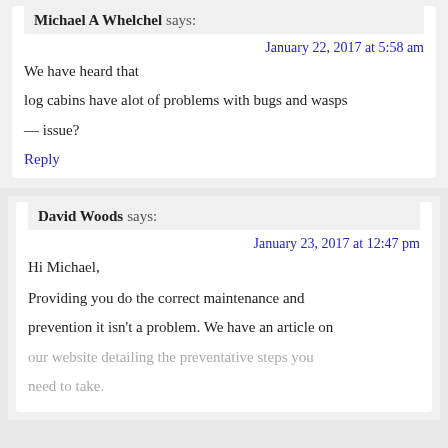Michael A Whelchel says:
January 22, 2017 at 5:58 am
We have heard that log cabins have alot of problems with bugs and wasps — issue?
Reply
David Woods says:
January 23, 2017 at 12:47 pm
Hi Michael,
Providing you do the correct maintenance and prevention it isn't a problem. We have an article on our website detailing the preventative steps you need to take.